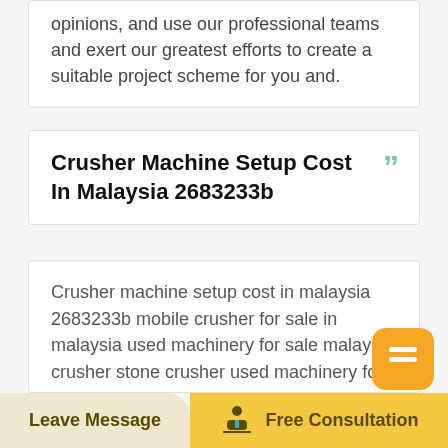opinions, and use our professional teams and exert our greatest efforts to create a suitable project scheme for you and.
Crusher Machine Setup Cost In Malaysia 2683233b
Crusher machine setup cost in malaysia 2683233b mobile crusher for sale in malaysia used machinery for sale malaysia crusher stone crusher used machinery for sale malaysia malaysia plastic injection machine malaysia plastic injection we do for customer value and satifiion for total plastic solution wy machinery trading sdn bhd was founded
Leave Message   Free Consultation